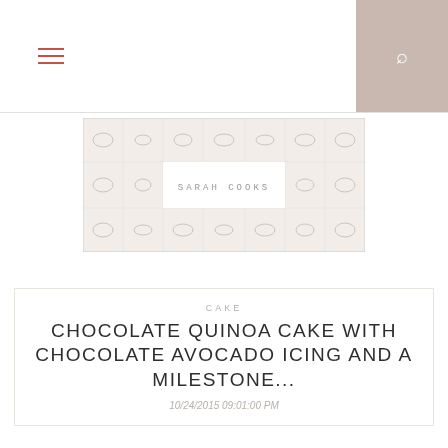Navigation bar with hamburger menu and search icon
[Figure (illustration): Sarah Cooks blog logo banner — a grid of pencil sketch food illustrations with 'SARAH COOKS' text in the center]
CAKE
CHOCOLATE QUINOA CAKE WITH CHOCOLATE AVOCADO ICING AND A MILESTONE...
10/24/2015 09:01:00 PM